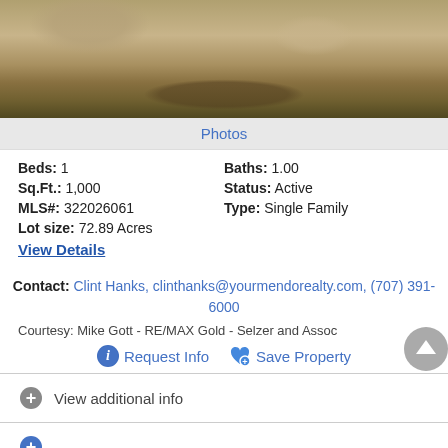[Figure (photo): Outdoor yard/garden area with dirt mounds, rocks, and desert plants in daylight]
Photos
Beds: 1   Baths: 1.00
Sq.Ft.: 1,000   Status: Active
MLS#: 322026061   Type: Single Family
Lot size: 72.89 Acres
View Details
Contact: Clint Hanks, clinthanks@yourmendorealty.com, (707) 391-6000
Courtesy: Mike Gott - RE/MAX Gold - Selzer and Assoc
Request Info   Save Property
View additional info